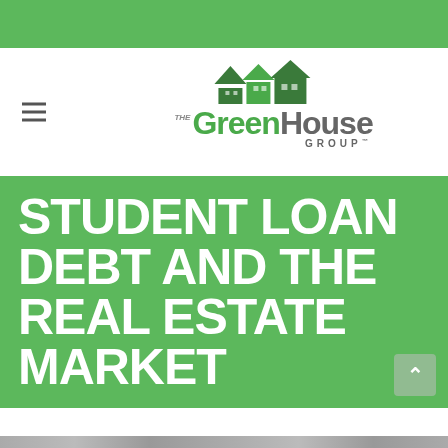[Figure (logo): The GreenHouse Group logo with green house icons and stylized text]
STUDENT LOAN DEBT AND THE REAL ESTATE MARKET
[Figure (photo): Bottom photo strip partially visible at bottom of page]